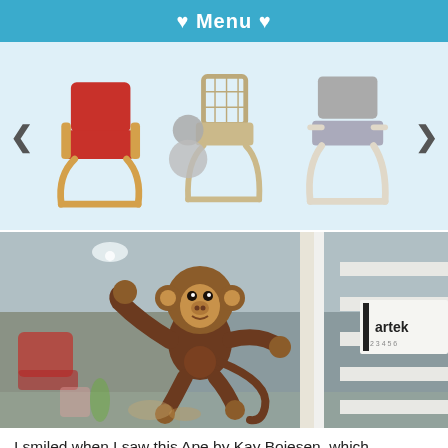♥ Menu ♥
[Figure (photo): Carousel of Artek chairs: red padded chair, a chair with circular side table, and a grey/white chair. Navigation arrows on sides.]
[Figure (photo): Photo of a wooden Kay Bojesen Ape toy monkey hanging on a white ladder shelf in an Artek store. Bokeh background with colorful furniture.]
I smiled when I saw this Ape by Kay Bojesen, which